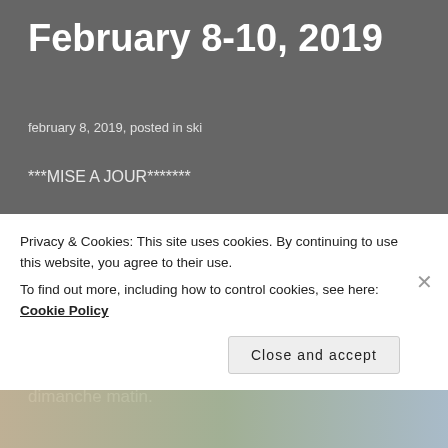February 8-10, 2019
february 8, 2019, posted in ski
***MISE A JOUR*******
Malheureusement, étant donné les conditions de neige fondante et de glace au long du lac, nous ne pourrons pas damer la zone devant le centre de loisirs comme prévu. Nous allons déplacer la clinique "apprenez à faire du ski de fond" vers les sentiers habituels au fin de la rue de davos le dimanche matin.
Privacy & Cookies: This site uses cookies. By continuing to use this website, you agree to their use.
To find out more, including how to control cookies, see here: Cookie Policy
Close and accept